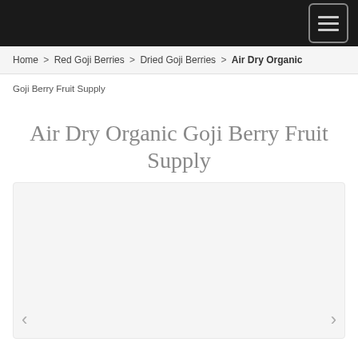Home > Red Goji Berries > Dried Goji Berries > Air Dry Organic
Goji Berry Fruit Supply
Air Dry Organic Goji Berry Fruit Supply
[Figure (photo): Product image carousel placeholder showing a light grey box with left and right navigation arrows at the bottom corners.]